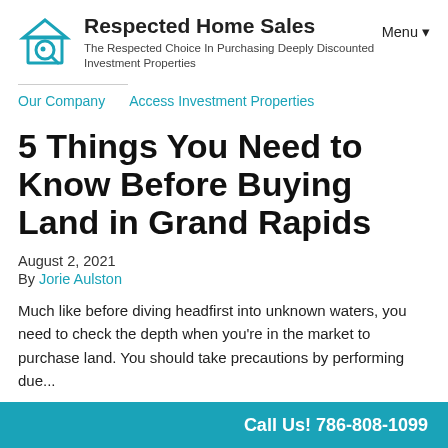Respected Home Sales — The Respected Choice In Purchasing Deeply Discounted Investment Properties
Our Company   Access Investment Properties   Menu▼
5 Things You Need to Know Before Buying Land in Grand Rapids
August 2, 2021
By Jorie Aulston
Much like before diving headfirst into unknown waters, you need to check the depth when you're in the market to purchase land. You should take precautions by performing due...
Call Us! 786-808-1099